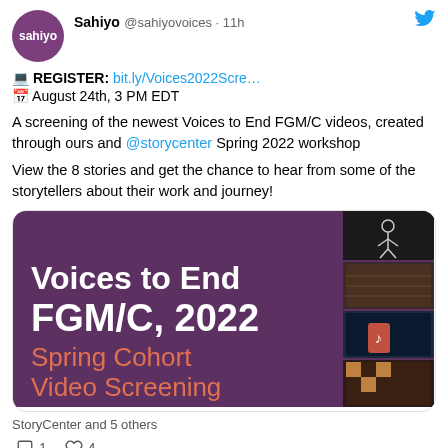[Figure (screenshot): Twitter/social media post from Sahiyo account. Avatar: purple circle with 'sahiyo' text. Username: Sahiyo, handle @sahiyovoices · 11h, with Twitter bird icon.]
💻 REGISTER: bit.ly/Voices2022Scre…
📅 August 24th, 3 PM EDT
A screening of the newest Voices to End FGM/C videos, created through ours and @storycenter Spring 2022 workshop
View the 8 stories and get the chance to hear from some of the storytellers about their work and journey!
[Figure (illustration): Promotional image with purple background showing 'Voices to End FGM/C, 2022 Spring Cohort Video Screening' with thumbnail video images on right side.]
StoryCenter and 5 others
💬 1  ♡ 4